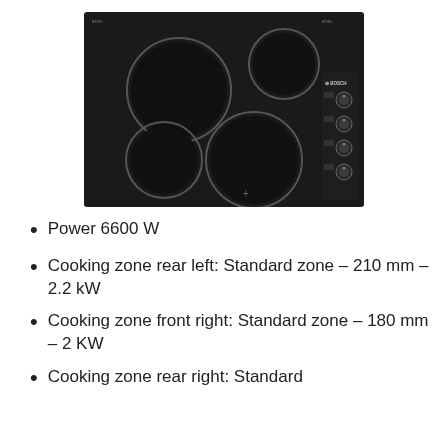[Figure (photo): A Bosch black ceramic electric hob/cooktop with 4 cooking zones (burners) and 4 rotary control knobs on the right side. The hob is rectangular with a black glass surface. Two large circular zones on the left and a smaller zone top-right and bottom-right, with knobs on the far right panel.]
Power 6600 W
Cooking zone rear left: Standard zone – 210 mm – 2.2 kW
Cooking zone front right: Standard zone – 180 mm – 2 KW
Cooking zone rear right: Standard